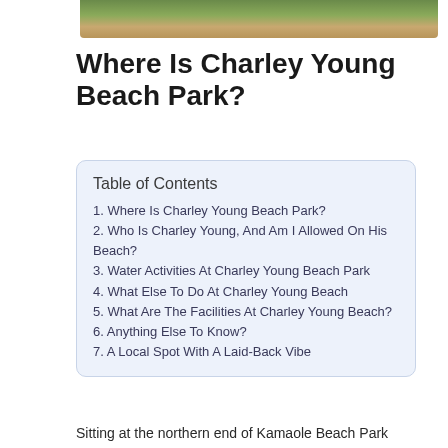[Figure (photo): Partial photo of a park scene with green foliage and sandy/earthy ground, cropped at the top of the page]
Where Is Charley Young Beach Park?
| # | Section |
| --- | --- |
| 1. | Where Is Charley Young Beach Park? |
| 2. | Who Is Charley Young, And Am I Allowed On His Beach? |
| 3. | Water Activities At Charley Young Beach Park |
| 4. | What Else To Do At Charley Young Beach |
| 5. | What Are The Facilities At Charley Young Beach? |
| 6. | Anything Else To Know? |
| 7. | A Local Spot With A Laid-Back Vibe |
Sitting at the northern end of Kamaole Beach Park